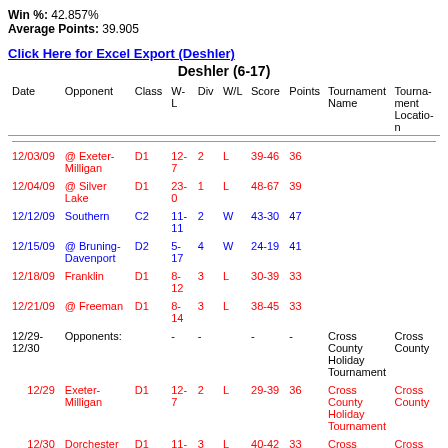Win %: 42.857%
Average Points: 39.905
Click Here for Excel Export (Deshler)
Deshler (6-17)
| Date | Opponent | Class | W-L | Div | W/L | Score | Points | Tournament Name | Tournament Location |
| --- | --- | --- | --- | --- | --- | --- | --- | --- | --- |
| 12/03/09 | @ Exeter-Milligan | D1 | 12-7 | 2 | L | 39-46 | 36 |  |  |
| 12/04/09 | @ Silver Lake | D1 | 23-0 | 1 | L | 48-67 | 39 |  |  |
| 12/12/09 | Southern | C2 | 11-11 | 2 | W | 43-30 | 47 |  |  |
| 12/15/09 | @ Bruning-Davenport | D2 | 5-17 | 4 | W | 24-19 | 41 |  |  |
| 12/18/09 | Franklin | D1 | 8-12 | 3 | L | 30-39 | 33 |  |  |
| 12/21/09 | @ Freeman | D1 | 8-14 | 3 | L | 38-45 | 33 |  |  |
| 12/29-12/30 | Opponents: | - | - |  | - | - |  | Cross County Holiday Tournament | Cross County |
| 12/29 | Exeter-Milligan | D1 | 12-7 | 2 | L | 29-39 | 36 | Cross County Holiday Tournament | Cross County |
| 12/30 | Dorchester | D1 | 11-12 | 3 | L | 40-42 | 33 | Cross County Holiday Tournament | Cross County |